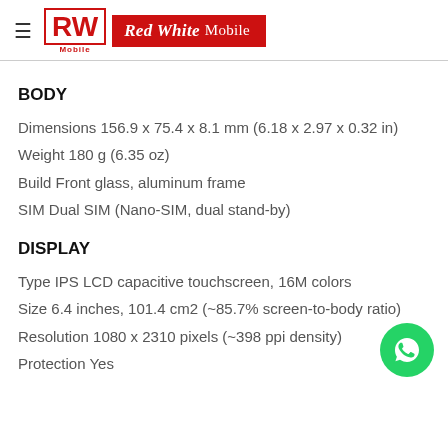Red White Mobile
BODY
Dimensions 156.9 x 75.4 x 8.1 mm (6.18 x 2.97 x 0.32 in)
Weight 180 g (6.35 oz)
Build Front glass, aluminum frame
SIM Dual SIM (Nano-SIM, dual stand-by)
DISPLAY
Type IPS LCD capacitive touchscreen, 16M colors
Size 6.4 inches, 101.4 cm2 (~85.7% screen-to-body ratio)
Resolution 1080 x 2310 pixels (~398 ppi density)
Protection Yes